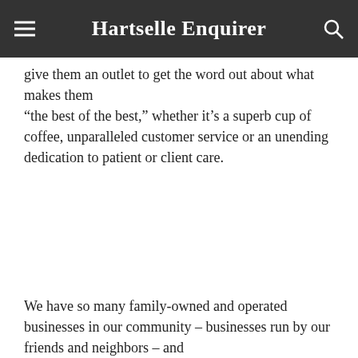Hartselle Enquirer
give them an outlet to get the word out about what makes them “the best of the best,” whether it’s a superb cup of coffee, unparalleled customer service or an unending dedication to patient or client care.
We have so many family-owned and operated businesses in our community – businesses run by our friends and neighbors – and